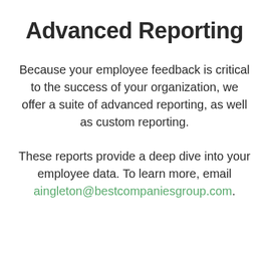Advanced Reporting
Because your employee feedback is critical to the success of your organization, we offer a suite of advanced reporting, as well as custom reporting.
These reports provide a deep dive into your employee data. To learn more, email aingleton@bestcompaniesgroup.com.